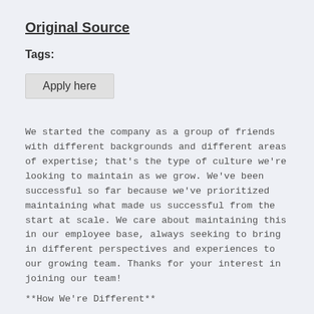Original Source
Tags:
Apply here
We started the company as a group of friends with different backgrounds and different areas of expertise; that's the type of culture we're looking to maintain as we grow. We've been successful so far because we've prioritized maintaining what made us successful from the start at scale. We care about maintaining this in our employee base, always seeking to bring in different perspectives and experiences to our growing team. Thanks for your interest in joining our team!
**How We're Different**